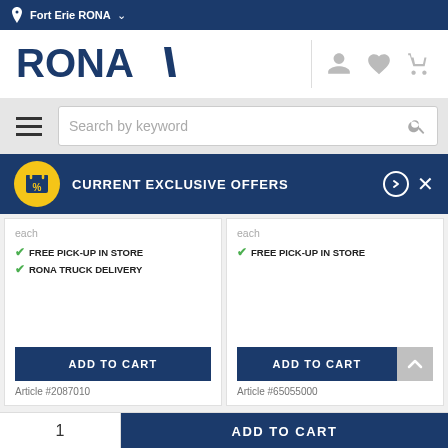Fort Erie RONA
[Figure (logo): RONA logo with blue text and diagonal stripe]
Search by keyword
CURRENT EXCLUSIVE OFFERS
each
FREE PICK-UP IN STORE
RONA TRUCK DELIVERY
ADD TO CART
Article #2087010
each
FREE PICK-UP IN STORE
ADD TO CART
Article #65055000
1
ADD TO CART